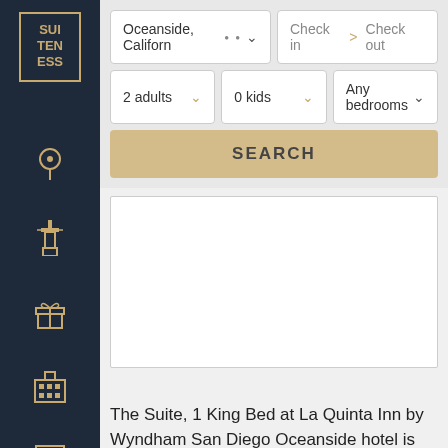[Figure (logo): Suiteness logo — gold bordered box with text SUI TEN ESS on dark navy background]
[Figure (infographic): Sidebar navigation icons: location pin, airport tower, gift box, hotel building, calendar/list; and a person/profile icon at the bottom]
[Figure (screenshot): Search widget with location field showing 'Oceanside, Califon', check-in and check-out date fields, dropdown selectors for '2 adults', '0 kids', 'Any bedrooms', and a SEARCH button]
[Figure (photo): White/blank map or image area within a bordered container]
The Suite, 1 King Bed at La Quinta Inn by Wyndham San Diego Oceanside hotel is ideal for couples and business travelers, featuring a cozy layout with plenty of space to relax after a busy day. Set up to work at the convenient